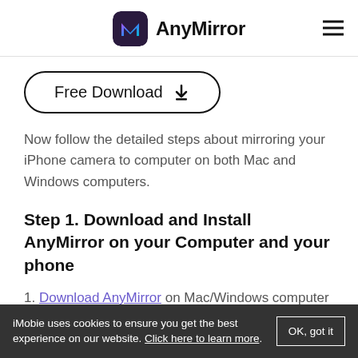AnyMirror
[Figure (logo): AnyMirror app logo with colorful M icon on dark rounded square background, and hamburger menu icon on right]
[Figure (other): Free Download button with download arrow icon, pill-shaped border]
Now follow the detailed steps about mirroring your iPhone camera to computer on both Mac and Windows computers.
Step 1. Download and Install AnyMirror on your Computer and your phone
1. Download AnyMirror on Mac/Windows computer >
iMobie uses cookies to ensure you get the best experience on our website. Click here to learn more.